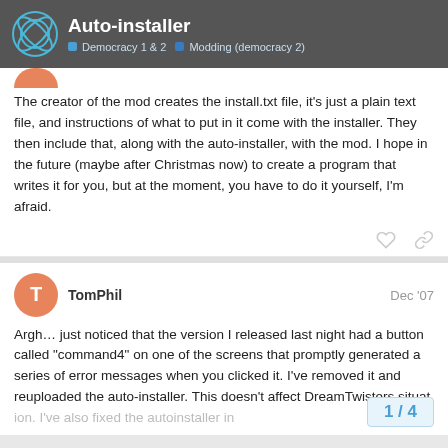Auto-installer | Democracy 1 & 2 > Modding (democracy 2)
The creator of the mod creates the install.txt file, it's just a plain text file, and instructions of what to put in it come with the installer. They then include that, along with the auto-installer, with the mod. I hope in the future (maybe after Christmas now) to create a program that writes it for you, but at the moment, you have to do it yourself, I'm afraid.
TomPhil  Dec '07
Argh… just noticed that the version I released last night had a button called “command4” on one of the screens that promptly generated a series of error messages when you clicked it. I’ve removed it and reuploaded the auto-installer. This doesn’t affect DreamTwisters situat also fixed the autoinstaller in…
1 / 4